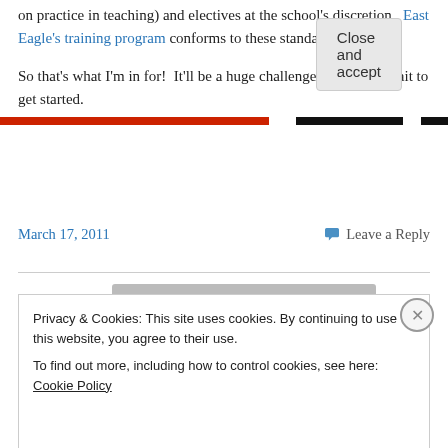on practice in teaching) and electives at the school's discretion.  East Eagle's training program conforms to these standards.
So that's what I'm in for!  It'll be a huge challenge, but I can't wait to get started.
March 17, 2011    Leave a Reply
Privacy & Cookies: This site uses cookies. By continuing to use this website, you agree to their use.
To find out more, including how to control cookies, see here: Cookie Policy